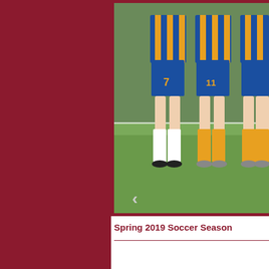[Figure (photo): Cropped photo of youth soccer players in blue and yellow striped jerseys standing on a grass field. Players wearing numbers 7 and 11 visible. Players wearing blue shorts, yellow socks and white socks. A goal net is visible in the background.]
Spring 2019 Soccer Season